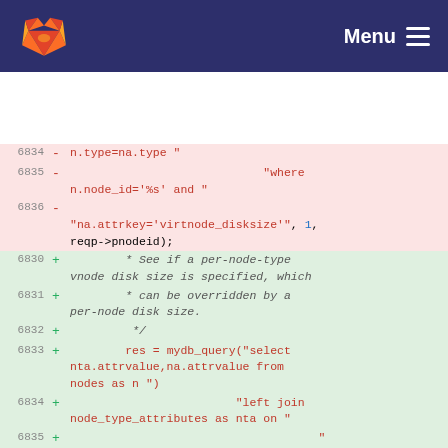GitLab Menu
[Figure (screenshot): GitLab code diff view showing removed lines (pink, lines 6834-6836) and added lines (green, lines 6830-6836) of C code with SQL queries for node attributes]
6834 - n.type=na.type "
6835 - "where n.node_id='%s' and "
6836 - "na.attrkey='virtnode_disksize'", 1, reqp->pnodeid);
6830 + * See if a per-node-type vnode disk size is specified, which
6831 + * can be overridden by a per-node disk size.
6832 + */
6833 + res = mydb_query("select nta.attrvalue,na.attrvalue from nodes as n "
6834 + "left join node_type_attributes as nta on "
6835 + " "nta.type=n.type and "
6836 + "